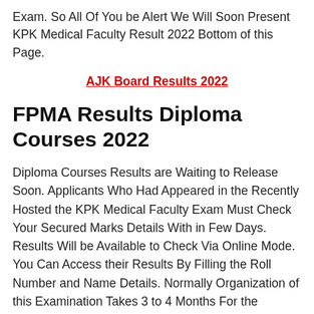Exam. So All Of You be Alert We Will Soon Present KPK Medical Faculty Result 2022 Bottom of this Page.
AJK Board Results 2022
FPMA Results Diploma Courses 2022
Diploma Courses Results are Waiting to Release Soon. Applicants Who Had Appeared in the Recently Hosted the KPK Medical Faculty Exam Must Check Your Secured Marks Details With in Few Days. Results Will be Available to Check Via Online Mode. You Can Access their Results By Filling the Roll Number and Name Details. Normally Organization of this Examination Takes 3 to 4 Months For the Composition of the Results Of the Theory, Practical and Viva Exams. Regular Touch With this Page to Know